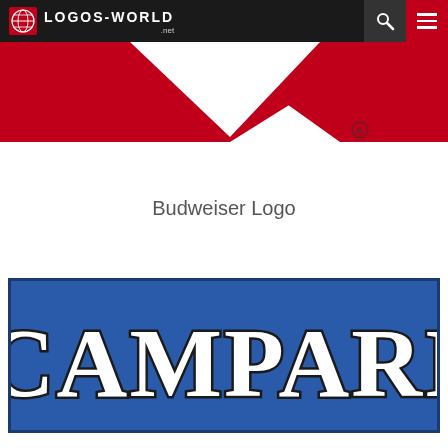LOGOS-WORLD .net
[Figure (logo): Partial Budweiser logo showing red bowtie/chevron shapes on white background with registered trademark symbol]
Budweiser Logo
[Figure (logo): Campari logo: white bold serif text 'CAMPARI' with dark outline on blue rectangular background]